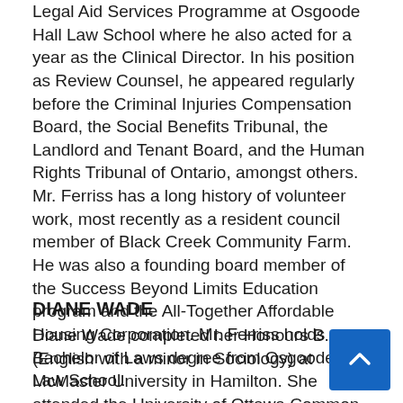Legal Aid Services Programme at Osgoode Hall Law School where he also acted for a year as the Clinical Director. In his position as Review Counsel, he appeared regularly before the Criminal Injuries Compensation Board, the Social Benefits Tribunal, the Landlord and Tenant Board, and the Human Rights Tribunal of Ontario, amongst others. Mr. Ferriss has a long history of volunteer work, most recently as a resident council member of Black Creek Community Farm. He was also a founding board member of the Success Beyond Limits Education program and the All-Together Affordable Housing Corporation. Mr. Ferriss holds a Bachelor of Laws degree from Osgoode Hall Law School.
DIANE WADE
Diane Wade completed her Honours B.A. (English with a minor in Sociology) at McMaster University in Hamilton. She attended the University of Ottawa Common Law